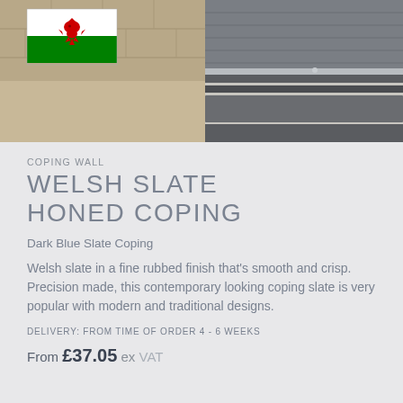[Figure (photo): Photo of dark blue Welsh slate coping stones on wall steps, with Welsh flag (red dragon on green and white) overlaid in top-left corner]
COPING WALL
WELSH SLATE HONED COPING
Dark Blue Slate Coping
Welsh slate in a fine rubbed finish that's smooth and crisp. Precision made, this contemporary looking coping slate is very popular with modern and traditional designs.
DELIVERY: FROM TIME OF ORDER 4 - 6 WEEKS
From £37.05 ex VAT